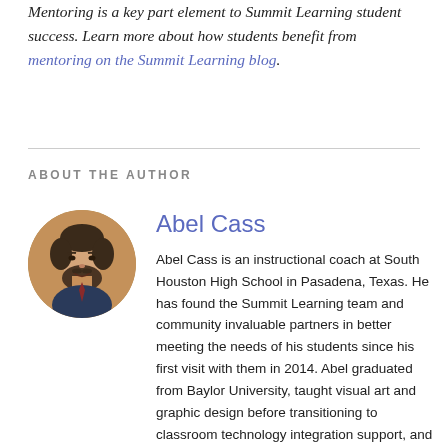Mentoring is a key part element to Summit Learning student success. Learn more about how students benefit from mentoring on the Summit Learning blog.
ABOUT THE AUTHOR
[Figure (photo): Circular headshot photo of Abel Cass, a man with a beard and mustache wearing a dark shirt and tie, smiling.]
Abel Cass
Abel Cass is an instructional coach at South Houston High School in Pasadena, Texas. He has found the Summit Learning team and community invaluable partners in better meeting the needs of his students since his first visit with them in 2014. Abel graduated from Baylor University, taught visual art and graphic design before transitioning to classroom technology integration support, and he will complete both a Master's